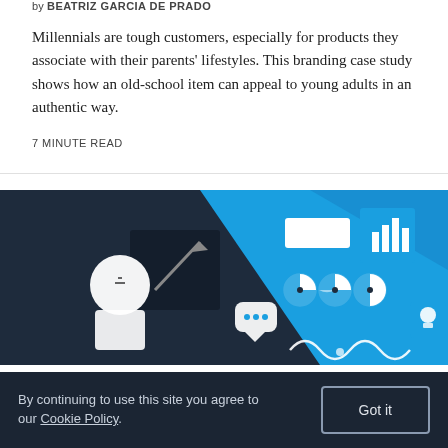by BEATRIZ GARCIA DE PRADO
Millennials are tough customers, especially for products they associate with their parents' lifestyles. This branding case study shows how an old-school item can appeal to young adults in an authentic way.
7 MINUTE READ
[Figure (illustration): Dark navy background illustration showing a white silhouette of a person looking at a blue geometric display with various UI/data icons including bar charts, pie charts, speech bubble, waveforms, and a lightbulb icon.]
By continuing to use this site you agree to our Cookie Policy.